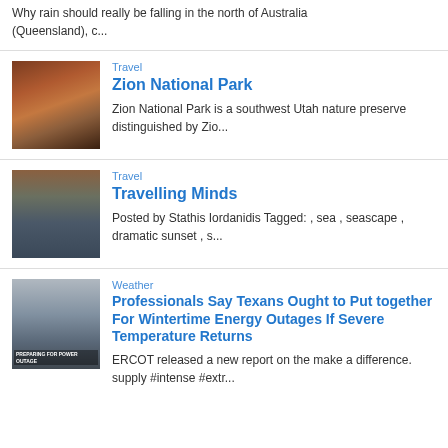Why rain should really be falling in the north of Australia (Queensland), c...
Travel
Zion National Park
[Figure (photo): Photo of red rock canyon, Zion National Park]
Zion National Park is a southwest Utah nature preserve distinguished by Zio...
Travel
Travelling Minds
[Figure (photo): Photo of seascape with dramatic sunset]
Posted by Stathis Iordanidis Tagged: , sea , seascape , dramatic sunset , s...
Weather
Professionals Say Texans Ought to Put together For Wintertime Energy Outages If Severe Temperature Returns
[Figure (photo): Photo of power outage preparation, industrial building]
ERCOT released a new report on the make a difference. supply #intense #extr...